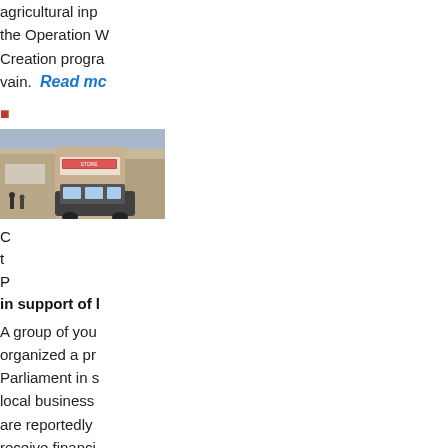agricultural inp the Operation W Creation progra vain.  Read mc
[Figure (photo): Street scene photo showing storefronts and a vehicle, likely a protest or business district location]
C t P in support of l
A group of you organized a pr Parliament in s local business are reportedly receive financi from governme of the so calle 65 companies said to be dee has since attra negative rema society organiz politicians and